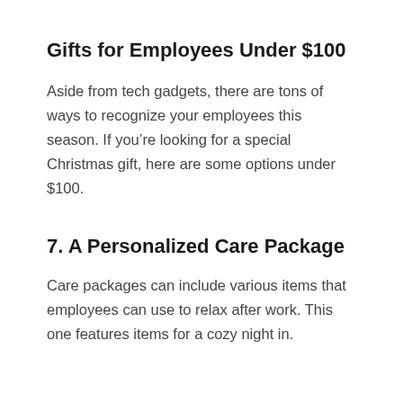Gifts for Employees Under $100
Aside from tech gadgets, there are tons of ways to recognize your employees this season. If you're looking for a special Christmas gift, here are some options under $100.
7. A Personalized Care Package
Care packages can include various items that employees can use to relax after work. This one features items for a cozy night in.